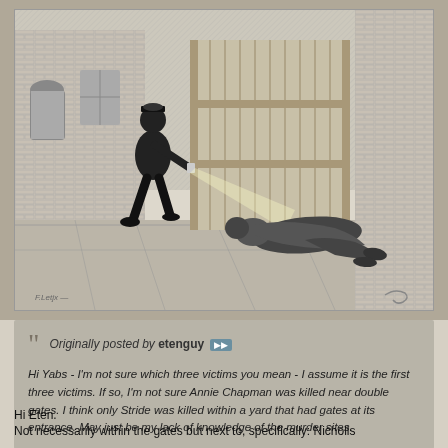[Figure (illustration): Victorian-era black and white engraving showing a police officer shining a lantern beam onto a body lying on the ground near a wooden gate and brick buildings. The scene depicts a crime scene discovery.]
Originally posted by etenguy ▶▶

Hi Yabs - I'm not sure which three victims you mean - I assume it is the first three victims. If so, I'm not sure Annie Chapman was killed near double gates. I think only Stride was killed within a yard that had gates at its entrance. May just be my lack of knowledge of the murder sites.
Hi Eten.
Not necessarily within the gates but next to, specifically: Nicholls